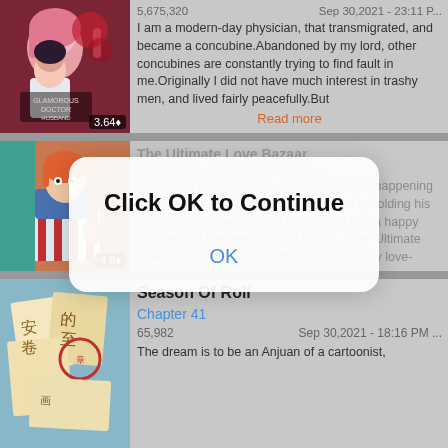[Figure (illustration): Manga cover for Glamorous Doctor Husband with anime characters]
5,675,320   Sep 30,2021 - 23:11 P...
I am a modern-day physician, that transmigrated, and became a concubine.Abandoned by my lord, other concubines are constantly trying to find fault in me.Originally I did not have much interest in trashy men, and lived fairly peacefully.But
Read more
[Figure (illustration): Manga cover for The Ultimate Love Bazaar]
The Ultimate Love Bazaar
The police is going mad!- Crazy things are happening throughout the city—a Saiyan is suddenly holding his girlfriend hostage, missing wife turned into a happy woman and the reason for all this is… the "Ultimate Love Bazaar" that claims they can solve any love-related
Read more
[Figure (screenshot): Click OK to Continue dialog overlay]
[Figure (illustration): Manga cover for Season Of Roll]
Season Of Roll
Chapter 41
65,982   Sep 30,2021 - 18:16 PM ...
The dream is to be an Anjuan of a cartoonist,